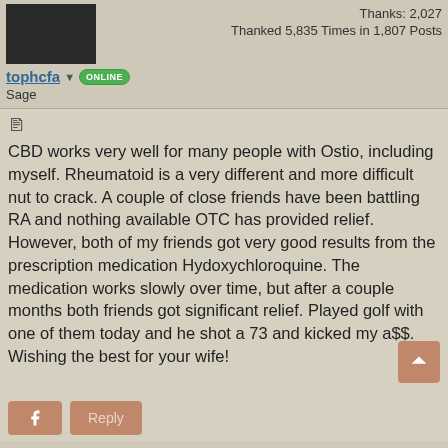[Figure (photo): Dark avatar/profile photo thumbnail]
Thanks: 2,027
Thanked 5,835 Times in 1,807 Posts
tophcfa ONLINE
Sage
CBD works very well for many people with Ostio, including myself. Rheumatoid is a very different and more difficult nut to crack. A couple of close friends have been battling RA and nothing available OTC has provided relief. However, both of my friends got very good results from the prescription medication Hydoxychloroquine. The medication works slowly over time, but after a couple months both friends got significant relief. Played golf with one of them today and he shot a 73 and kicked my a$$. Wishing the best for your wife!